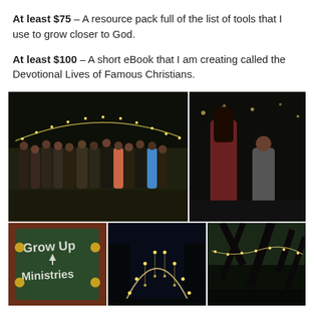At least $75 – A resource pack full of the list of tools that I use to grow closer to God.
At least $100 – A short eBook that I am creating called the Devotional Lives of Famous Christians.
[Figure (photo): Collage of five photos: top-left shows a large group of people posing outdoors at night with string lights and a circular arch in the background; top-right shows two girls posing outdoors at night; bottom-left shows a chalkboard sign reading 'Grow Up Ministries'; bottom-middle shows a lit outdoor arch at night; bottom-right shows trees with string lights at night.]